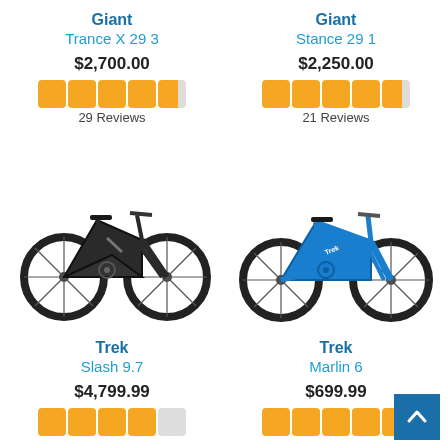Giant
Trance X 29 3
$2,700.00
29 Reviews
Giant
Stance 29 1
$2,250.00
21 Reviews
[Figure (photo): Dark colored Trek full-suspension mountain bike (Slash 9.7)]
[Figure (photo): Blue hardtail mountain bike (Trek Marlin 6 / Giant Stance 29)]
Trek
Slash 9.7
$4,799.99
Trek
Marlin 6
$699.99